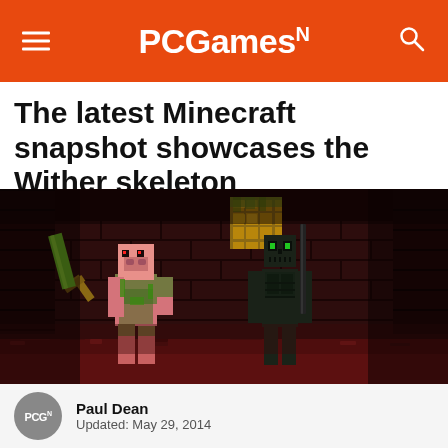PCGamesN
The latest Minecraft snapshot showcases the Wither skeleton
[Figure (photo): Minecraft screenshot showing a Zombified Piglin holding a golden sword on the left and a Wither Skeleton on the right, standing in a dark Nether fortress environment with red netherrack floor and dark brick walls, a falling gold cube visible in the background.]
Paul Dean
Updated: May 29, 2014